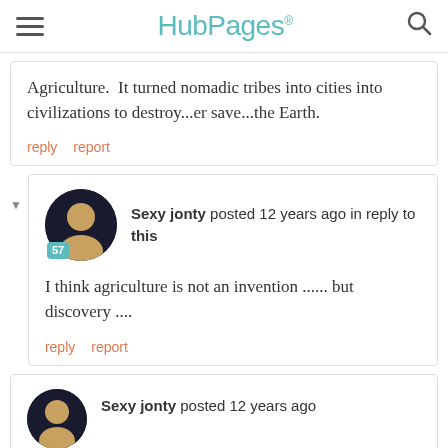HubPages
Agriculture.  It turned nomadic tribes into cities into civilizations to destroy...er save...the Earth.
reply   report
Sexy jonty posted 12 years ago in reply to this
I think agriculture is not an invention ...... but discovery ....
reply   report
Sexy jonty posted 12 years ago